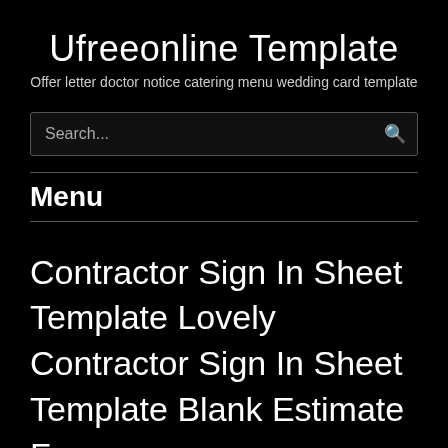Ufreeonline Template
Offer letter doctor notice catering menu wedding card template
Search...
Menu
Contractor Sign In Sheet Template Lovely Contractor Sign In Sheet Template Blank Estimate Free